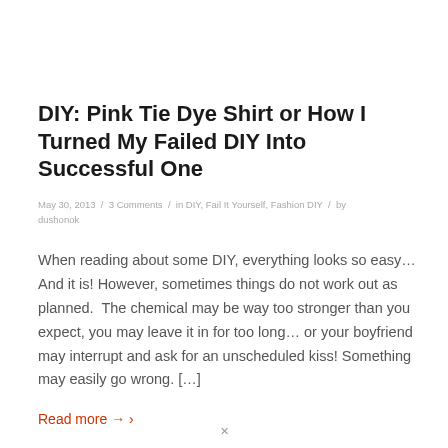DIY: Pink Tie Dye Shirt or How I Turned My Failed DIY Into Successful One
May 30, 2013 / 3 Comments / in DIY, Fail It Yourself, Fashion DIY / by dushonok
When reading about some DIY, everything looks so easy… And it is! However, sometimes things do not work out as planned.  The chemical may be way too stronger than you expect, you may leave it in for too long… or your boyfriend may interrupt and ask for an unscheduled kiss! Something may easily go wrong. […]
Read more → ›